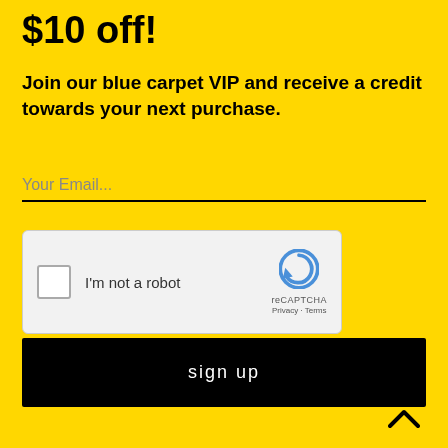$10 off!
Join our blue carpet VIP and receive a credit towards your next purchase.
[Figure (screenshot): Email input field with placeholder text 'Your Email...' and a black underline border on yellow background]
[Figure (screenshot): reCAPTCHA widget with checkbox, 'I'm not a robot' label, and reCAPTCHA logo with Privacy and Terms links]
sign up
[Figure (other): Upward-pointing chevron arrow icon in black on yellow background]